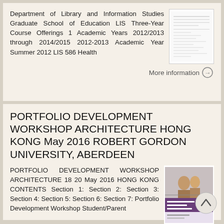Department of Library and Information Studies Graduate School of Education LIS Three-Year Course Offerings 1 Academic Years 2012/2013 through 2014/2015 2012-2013 Academic Year Summer 2012 LIS 586 Health
[Figure (screenshot): Thumbnail image of a document page showing a table of contents or course listing]
More information →
PORTFOLIO DEVELOPMENT WORKSHOP ARCHITECTURE HONG KONG May 2016 ROBERT GORDON UNIVERSITY, ABERDEEN
PORTFOLIO DEVELOPMENT WORKSHOP ARCHITECTURE 18 20 May 2016 HONG KONG CONTENTS Section 1: Section 2: Section 3: Section 4: Section 5: Section 6: Section 7: Portfolio Development Workshop Student/Parent
[Figure (screenshot): Thumbnail of a purple and white workshop document cover]
More information →